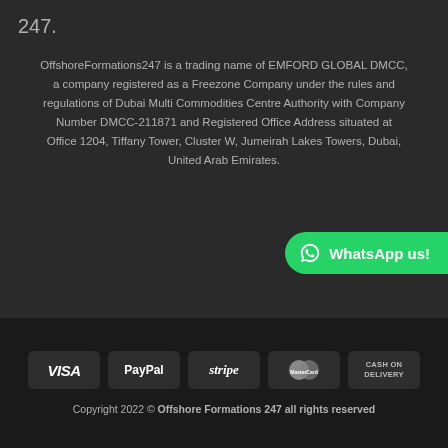247.
OffshoreFormations247 is a trading name of EMFORD GLOBAL DMCC, a company registered as a Freezone Company under the rules and regulations of Dubai Multi Commodities Centre Authority with Company Number DMCC-211871 and Registered Office Address situated at Office 1204, Tiffany Tower, Cluster W, Jumeirah Lakes Towers, Dubai, United Arab Emirates.
[Figure (other): WhatsApp us! button with WhatsApp logo icon, green rounded button on right side]
[Figure (other): Payment method badges: VISA, PayPal, stripe, MasterCard, CASH ON DELIVERY]
Copyright 2022 © Offshore Formations 247 all rights reserved